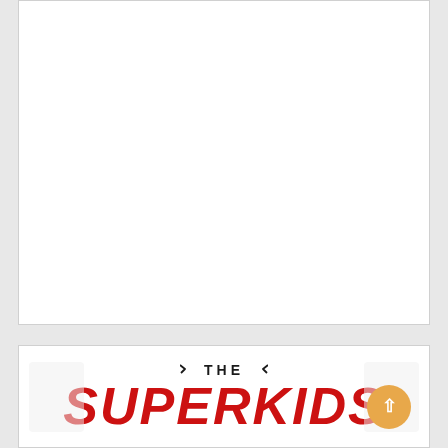[Figure (illustration): White card/panel area at the top, blank/white content area]
[Figure (logo): The Superkids logo with lightning bolt decorations around THE and large red italic bold SUPERKIDS text below]